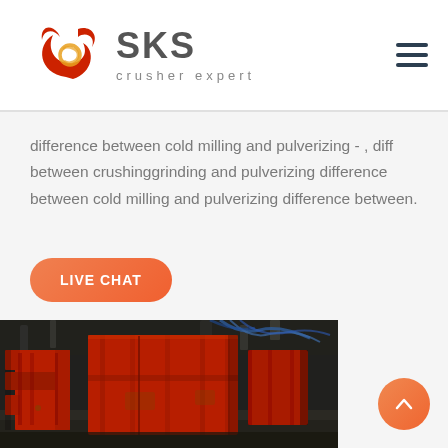[Figure (logo): SKS Crusher Expert logo with stylized red calligraphic icon and gray text]
difference between cold milling and pulverizing - , diff between crushinggrinding and pulverizing difference between cold milling and pulverizing difference between.
[Figure (other): Live Chat button with orange rounded rectangle background]
[Figure (photo): Industrial photo showing large red metallic crusher/mining equipment boxes in an underground industrial setting with cables visible in background]
[Figure (other): Back to top orange circular button with upward arrow]